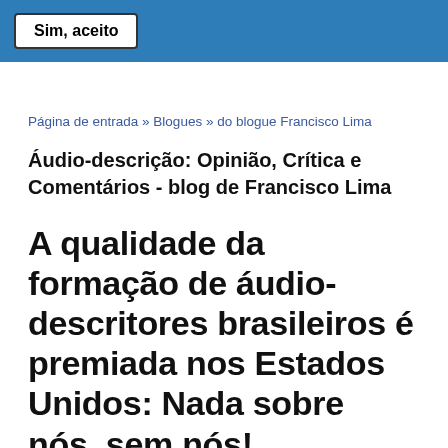Sim, aceito
Página de entrada » Blogues » do blogue Francisco Lima
Áudio-descrição: Opinião, Crítica e Comentários - blog de Francisco Lima
A qualidade da formação de áudio-descritores brasileiros é premiada nos Estados Unidos: Nada sobre nós, sem nós!
9 Junho, 2016 - 17:24 por Francisco Lima
Dr. Francisco Lima ganha prêmio mais importante do